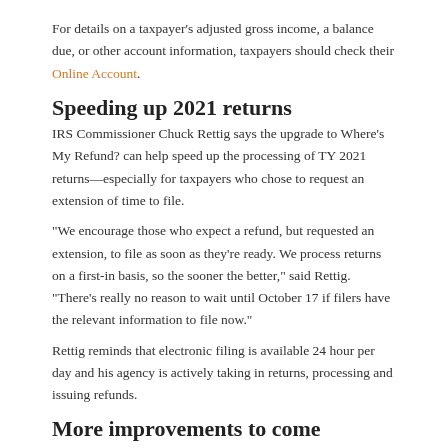For details on a taxpayer's adjusted gross income, a balance due, or other account information, taxpayers should check their Online Account.
Speeding up 2021 returns
IRS Commissioner Chuck Rettig says the upgrade to Where's My Refund? can help speed up the processing of TY 2021 returns—especially for taxpayers who chose to request an extension of time to file.
“We encourage those who expect a refund, but requested an extension, to file as soon as they’re ready. We process returns on a first-in basis, so the sooner the better,” said Rettig. “There’s really no reason to wait until October 17 if filers have the relevant information to file now.”
Rettig reminds that electronic filing is available 24 hour per day and his agency is actively taking in returns, processing and issuing refunds.
More improvements to come
If taxpayers are happy with this latest round of upgrades, Rettig said, more improvements are in the works.